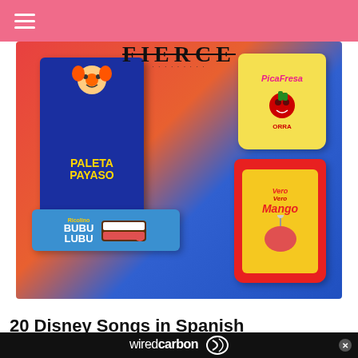≡ FIERCE
[Figure (photo): Product photo showing Mexican candy brands: Paleta Payaso box (blue, with clown mascot), PicaFresa strawberry candy bag (yellow), Bubu Lubu chocolate bar (blue), and Vero Mango lollipop bag (red/yellow), arranged on a colorful red-orange and blue gradient background.]
20 Disney Songs in Spanish
Tha... ...ing
[Figure (advertisement): wiredcarbon advertisement banner with logo and close (x) button]